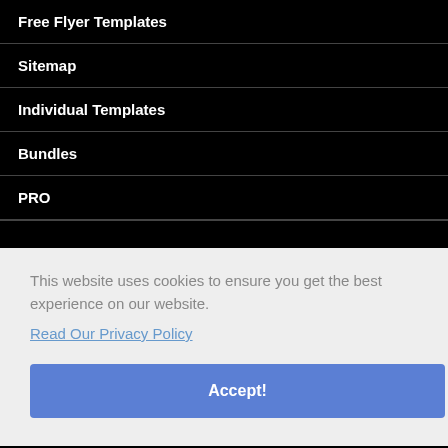Free Flyer Templates
Sitemap
Individual Templates
Bundles
PRO
This website uses cookies to ensure you get the best experience on our website.
Read Our Privacy Policy
Accept!